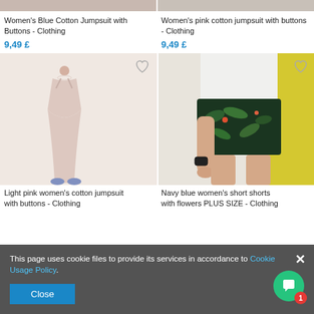[Figure (photo): Partial top view of two product images (blue/pink jumpsuits) cropped at top]
Women's Blue Cotton Jumpsuit with Buttons - Clothing
9,49 £
Women's pink cotton jumpsuit with buttons - Clothing
9,49 £
[Figure (photo): Light pink women's cotton jumpsuit - model wearing strappy pink jumpsuit with blue sandals on white background]
[Figure (photo): Navy blue women's short shorts with tropical flower print PLUS SIZE - model wearing dark shorts with green tropical pattern, yellow background]
Light pink women's cotton jumpsuit with buttons - Clothing
Navy blue women's short shorts with flowers PLUS SIZE - Clothing
This page uses cookie files to provide its services in accordance to Cookie Usage Policy.
Close